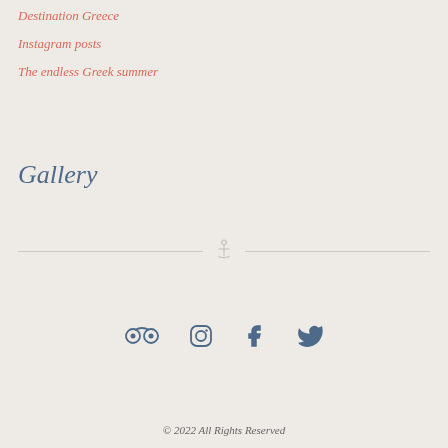Destination Greece
Instagram posts
The endless Greek summer
Gallery
[Figure (illustration): Anchor icon centered in a horizontal divider line]
[Figure (illustration): Social media icons row: TripAdvisor, Instagram, Facebook, Twitter]
© 2022 All Rights Reserved